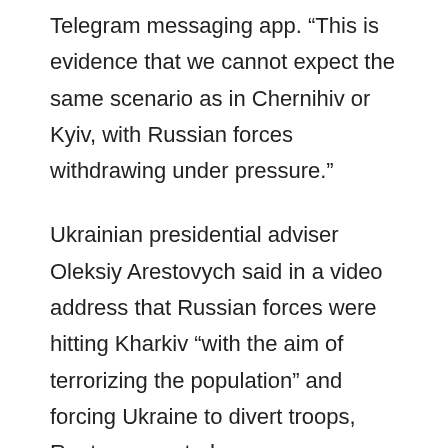Telegram messaging app. “This is evidence that we cannot expect the same scenario as in Chernihiv or Kyiv, with Russian forces withdrawing under pressure.”
Ukrainian presidential adviser Oleksiy Arestovych said in a video address that Russian forces were hitting Kharkiv “with the aim of terrorizing the population” and forcing Ukraine to divert troops, Reuters reported.
Microsoft reported Wednesday that Russian intelligence agencies have conducted multiple